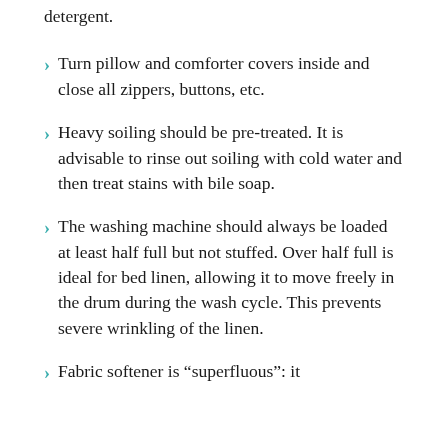detergent.
Turn pillow and comforter covers inside and close all zippers, buttons, etc.
Heavy soiling should be pre-treated. It is advisable to rinse out soiling with cold water and then treat stains with bile soap.
The washing machine should always be loaded at least half full but not stuffed. Over half full is ideal for bed linen, allowing it to move freely in the drum during the wash cycle. This prevents severe wrinkling of the linen.
Fabric softener is “superfluous”: it